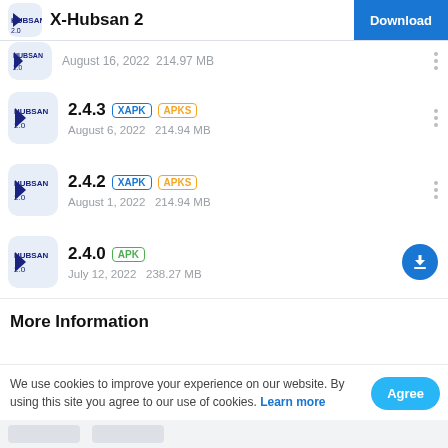X-Hubsan 2 | Download
August 16, 2022   214.97 MB
2.4.3 XAPK APKS
August 6, 2022   214.94 MB
2.4.2 XAPK APKS
August 1, 2022   214.94 MB
2.4.0 APK
July 12, 2022   238.27 MB
More Information
We use cookies to improve your experience on our website. By using this site you agree to our use of cookies. Learn more